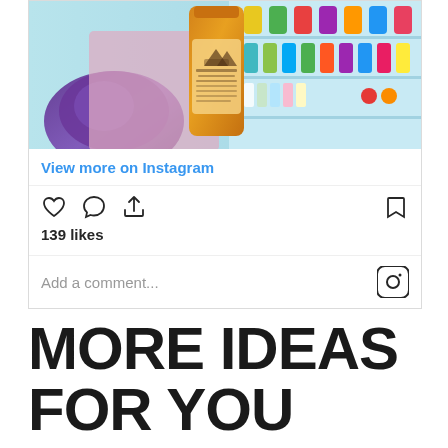[Figure (photo): Instagram post showing colorful juice bottles in a refrigerator display case, with an orange bottle prominently held in the foreground and a purple fabric accessory visible on the left]
View more on Instagram
[Figure (infographic): Instagram action bar with heart (like), comment bubble, share icons on the left and bookmark icon on the right]
139 likes
Add a comment...
MORE IDEAS FOR YOU